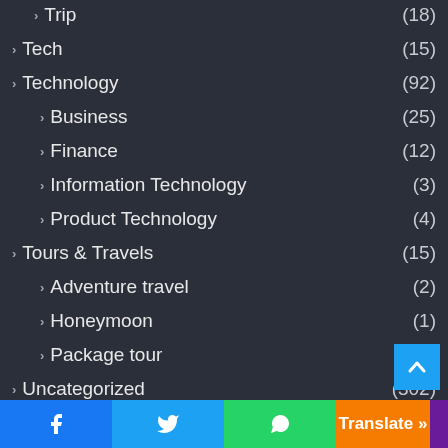Trip (18)
Tech (15)
Technology (92)
Business (25)
Finance (12)
Information Technology (3)
Product Technology (4)
Tours & Travels (15)
Adventure travel (2)
Honeymoon (1)
Package tour (1)
Uncategorized (302)
Facebook | Twitter | WhatsApp | Translate »